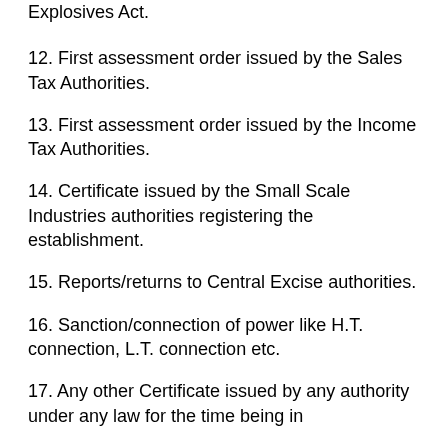Explosives Act.
12. First assessment order issued by the Sales Tax Authorities.
13. First assessment order issued by the Income Tax Authorities.
14. Certificate issued by the Small Scale Industries authorities registering the establishment.
15. Reports/returns to Central Excise authorities.
16. Sanction/connection of power like H.T. connection, L.T. connection etc.
17. Any other Certificate issued by any authority under any law for the time being in